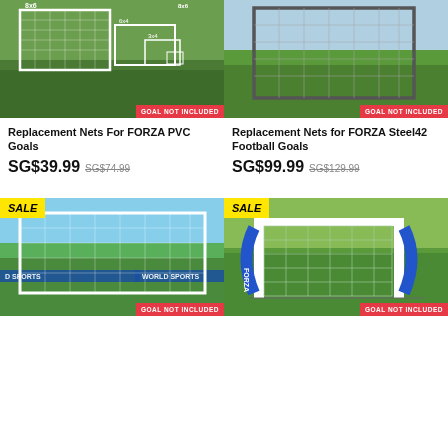[Figure (photo): Soccer goals on grass field with 'GOAL NOT INCLUDED' red badge - Replacement Nets For FORZA PVC Goals]
[Figure (photo): Steel soccer goal on grass with 'GOAL NOT INCLUDED' red badge - Replacement Nets for FORZA Steel42 Football Goals]
Replacement Nets For FORZA PVC Goals
Replacement Nets for FORZA Steel42 Football Goals
SG$39.99  SG$74.99
SG$99.99  SG$129.99
[Figure (photo): Large white soccer goal on grass field, SALE badge, 'GOAL NOT INCLUDED' red badge]
[Figure (photo): FORZA branded blue/white soccer goal on pitch, SALE badge, 'GOAL NOT INCLUDED' red badge]